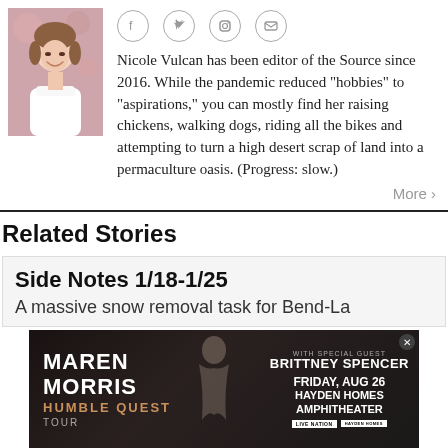[Figure (photo): Headshot photo of Nicole Vulcan, a smiling woman in a white t-shirt against a pink/floral background]
[Figure (infographic): Social media icons: Facebook, Twitter, Instagram, Email in circular outlines]
Nicole Vulcan has been editor of the Source since 2016. While the pandemic reduced "hobbies" to "aspirations," you can mostly find her raising chickens, walking dogs, riding all the bikes and attempting to turn a high desert scrap of land into a permaculture oasis. (Progress: slow.)
More >
Related Stories
Side Notes 1/18-1/25
A massive snow removal task for Bend-La
[Figure (photo): Advertisement banner for Maren Morris Humble Quest Tour with special guest Brittney Spencer, Friday Aug 26, Hayden Homes Amphitheater, Live Nation]